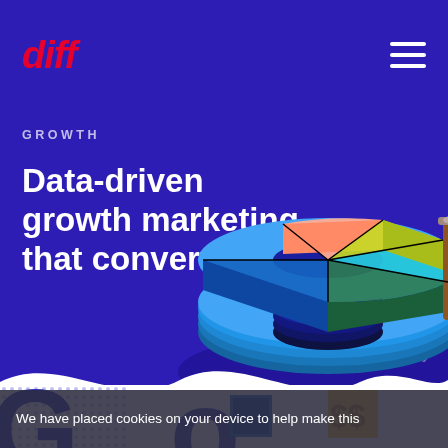diff
GROWTH
Data-driven growth marketing that converts
[Figure (illustration): 3D colorful donut/pie chart illustration with geometric slices in teal, blue, salmon, yellow-green, and brown tones on a dark blue background]
We have placed cookies on your device to help make this